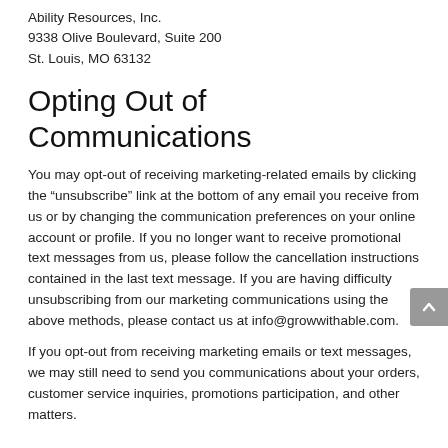Ability Resources, Inc.
9338 Olive Boulevard, Suite 200
St. Louis, MO 63132
Opting Out of Communications
You may opt-out of receiving marketing-related emails by clicking the “unsubscribe” link at the bottom of any email you receive from us or by changing the communication preferences on your online account or profile. If you no longer want to receive promotional text messages from us, please follow the cancellation instructions contained in the last text message. If you are having difficulty unsubscribing from our marketing communications using the above methods, please contact us at info@growwithable.com.
If you opt-out from receiving marketing emails or text messages, we may still need to send you communications about your orders, customer service inquiries, promotions participation, and other matters.